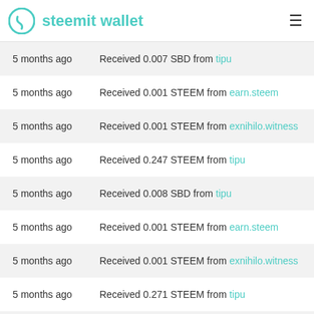steemit wallet
| Time | Description |
| --- | --- |
| 5 months ago | Received 0.007 SBD from tipu |
| 5 months ago | Received 0.001 STEEM from earn.steem |
| 5 months ago | Received 0.001 STEEM from exnihilo.witness |
| 5 months ago | Received 0.247 STEEM from tipu |
| 5 months ago | Received 0.008 SBD from tipu |
| 5 months ago | Received 0.001 STEEM from earn.steem |
| 5 months ago | Received 0.001 STEEM from exnihilo.witness |
| 5 months ago | Received 0.271 STEEM from tipu |
| 5 months ago | Received 0.013 SBD from tipu |